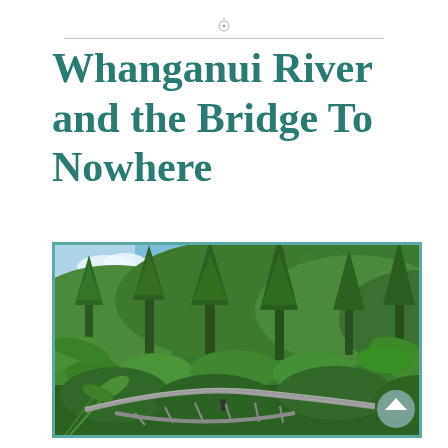Whanganui River and the Bridge To Nowhere
[Figure (photo): Aerial view of a concrete arch bridge surrounded by dense New Zealand native bush and forest, with lush green tree ferns and tall conifers visible on hillsides. The bridge disappears into the bush with no road connecting it.]